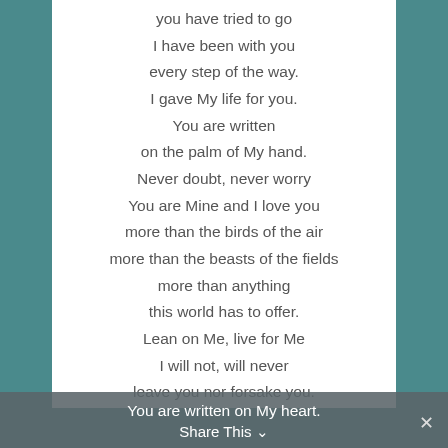you have tried to go
I have been with you
every step of the way.
I gave My life for you.
You are written
on the palm of My hand.
Never doubt, never worry
You are Mine and I love you
more than the birds of the air
more than the beasts of the fields
more than anything
this world has to offer.
Lean on Me, live for Me
I will not, will never
leave you nor forsake you.
I will not disappoint you.
Because
You are written on My heart.
You are written on My heart.
Share This ∨  ✕